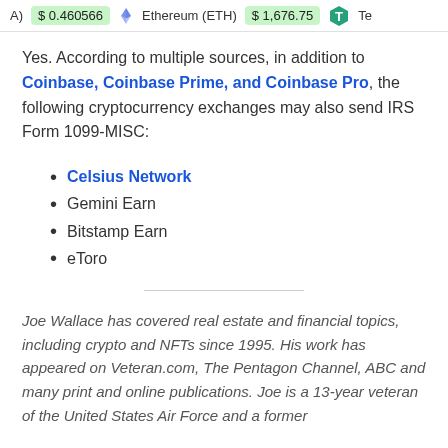A) $0.460566  Ethereum (ETH)  $1,676.75  Te
Yes. According to multiple sources, in addition to Coinbase, Coinbase Prime, and Coinbase Pro, the following cryptocurrency exchanges may also send IRS Form 1099-MISC:
Celsius Network
Gemini Earn
Bitstamp Earn
eToro
Joe Wallace has covered real estate and financial topics, including crypto and NFTs since 1995. His work has appeared on Veteran.com, The Pentagon Channel, ABC and many print and online publications. Joe is a 13-year veteran of the United States Air Force and a former